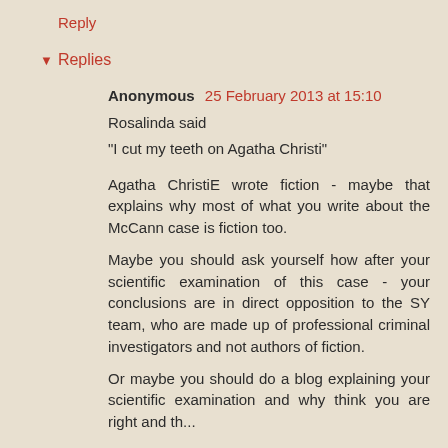Reply
▾ Replies
Anonymous 25 February 2013 at 15:10
Rosalinda said
"I cut my teeth on Agatha Christi"
Agatha ChristiE wrote fiction - maybe that explains why most of what you write about the McCann case is fiction too.
Maybe you should ask yourself how after your scientific examination of this case - your conclusions are in direct opposition to the SY team, who are made up of professional criminal investigators and not authors of fiction.
Or maybe you should do a blog explaining your scientific examination and why think you are right and the...